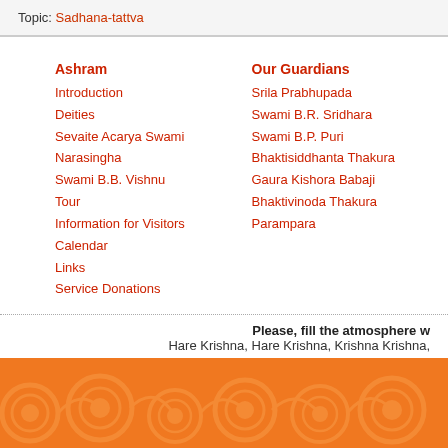Topic: Sadhana-tattva
Ashram
Introduction
Deities
Sevaite Acarya Swami Narasingha
Swami B.B. Vishnu
Tour
Information for Visitors
Calendar
Links
Service Donations
Our Guardians
Srila Prabhupada
Swami B.R. Sridhara
Swami B.P. Puri
Bhaktisiddhanta Thakura
Gaura Kishora Babaji
Bhaktivinoda Thakura
Parampara
Please, fill the atmosphere w
Hare Krishna, Hare Krishna, Krishna Krishna,
[Figure (illustration): Orange decorative footer with traditional floral/paisley pattern overlay in lighter orange]